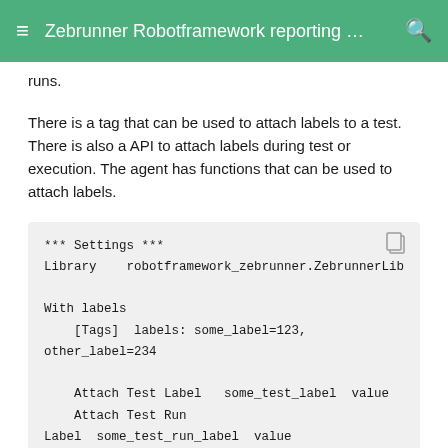Zebrunner Robotframework reporting …
runs.
There is a tag that can be used to attach labels to a test. There is also a API to attach labels during test or execution. The agent has functions that can be used to attach labels.
*** Settings ***
Library    robotframework_zebrunner.ZebrunnerLib

With labels
    [Tags]  labels: some_label=123, other_label=234

    Attach Test Label   some_test_label  value
    Attach Test Run Label  some_test_run_label  value
    Should Be True    5 + 5 == 10
The test from the sample above attaches 3 test-level labels.